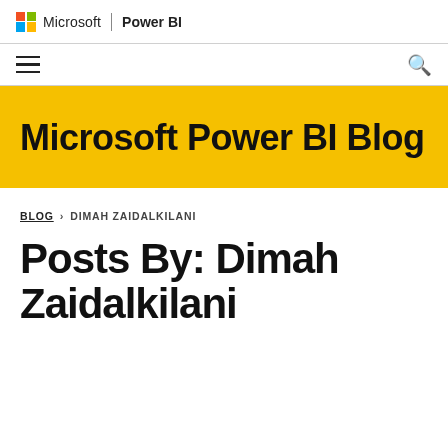Microsoft | Power BI
[Figure (screenshot): Navigation bar with hamburger menu icon on left and search icon on right]
Microsoft Power BI Blog
BLOG > DIMAH ZAIDALKILANI
Posts By: Dimah Zaidalkilani